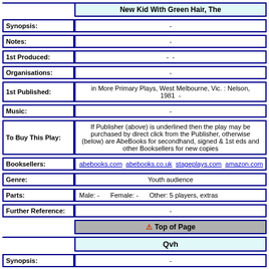New Kid With Green Hair, The
| Label | Value |
| --- | --- |
| Synopsis: | - |
| Notes: | - |
| 1st Produced: | -  - |
| Organisations: | - |
| 1st Published: | in More Primary Plays, West Melbourne, Vic. : Nelson, 1981  - |
| Music: | - |
| To Buy This Play: | If Publisher (above) is underlined then the play may be purchased by direct click from the Publisher, otherwise (below) are AbeBooks for secondhand, signed & 1st eds and other Booksellers for new copies |
| Booksellers: | abebooks.com  abebooks.co.uk  stageplays.com  amazon.com  amazon.co.uk  am |
| Genre: | Youth audience |
| Parts: | Male: -   Female: -   Other: 5 players, extras |
| Further Reference: | - |
Top of Page
Qvh
| Label | Value |
| --- | --- |
| Synopsis: | - |
| Notes: | - |